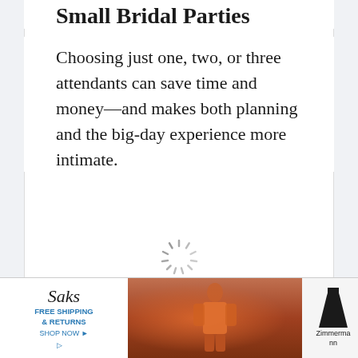Small Bridal Parties
Choosing just one, two, or three attendants can save time and money—and makes both planning and the big-day experience more intimate.
[Figure (other): Loading spinner icon (circular sunburst/loading indicator)]
[Figure (other): Advertisement banner for Saks Fifth Avenue with free shipping & returns offer, a fashion photo of a person in orange clothing, a black dress illustration, and Zimmermann brand name.]